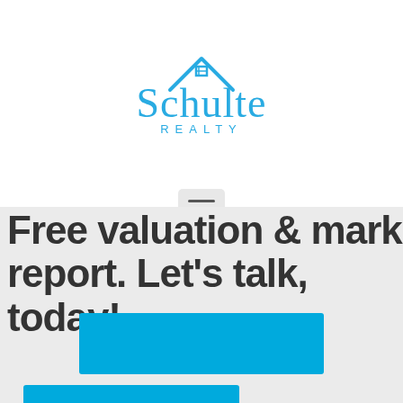[Figure (logo): Schulte Realty logo with house icon above the stylized script text 'Schulte' and 'REALTY' in blue]
[Figure (other): Hamburger menu button (three horizontal lines) in a rounded gray rectangle]
Free valuation & market report. Let's talk, today!
[Figure (other): Blue call-to-action button (first)]
[Figure (other): Blue call-to-action button (second, partially visible)]